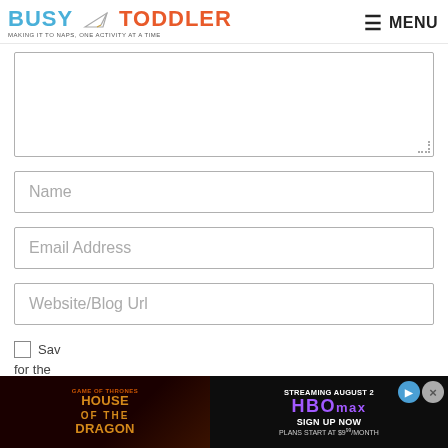BUSY TODDLER — MAKING IT TO NAPS, ONE ACTIVITY AT A TIME — MENU
[Figure (screenshot): Form textarea input box (empty), partially visible at top]
Name
Email Address
Website/Blog Url
Save my name, email, and website in this browser for the...
[Figure (screenshot): Advertisement banner for Game of Thrones: House of the Dragon, streaming August 2 on HBOmax. Plans start at $9.99/month.]